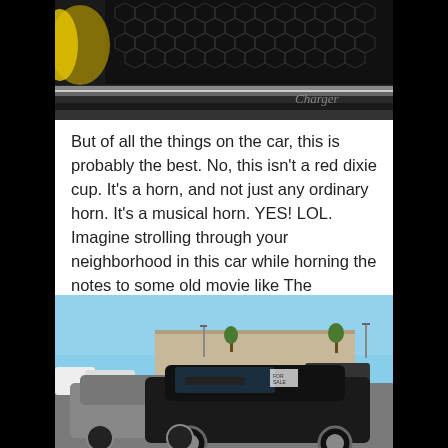[Figure (photo): Close-up photo of a car grille with hexagonal mesh pattern, showing dark chrome trim and a partial view of the car badge/script, with a yellow headlight visible on the left edge.]
But of all the things on the car, this is probably the best. No, this isn't a red dixie cup. It's a horn, and not just any ordinary horn. It's a musical horn. YES! LOL. Imagine strolling through your neighborhood in this car while horning the notes to some old movie like The Godfather.
[Figure (photo): A parking lot scene showing multiple cars including a black sporty car (appears to be a modified Pontiac Firebird or similar muscle car) in the foreground and a dark gray/silver car to its left, with a commercial building and clear sky in the background.]